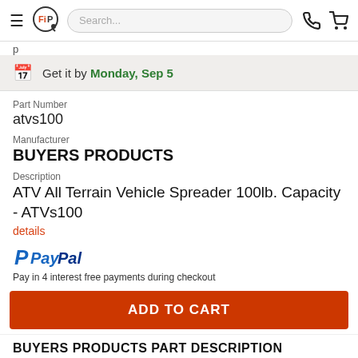FiP [logo] Search... [phone icon] [cart icon]
Get it by Monday, Sep 5
Part Number
atvs100
Manufacturer
BUYERS PRODUCTS
Description
ATV All Terrain Vehicle Spreader 100lb. Capacity - ATVs100
details
[Figure (logo): PayPal logo with blue P icon and PayPal text in blue italic]
Pay in 4 interest free payments during checkout
ADD TO CART
BUYERS PRODUCTS PART DESCRIPTION